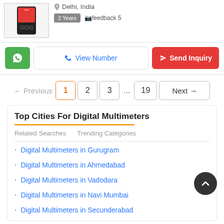[Figure (photo): Product image of a digital multimeter device with red and black casing]
Delhi, India
2 Years  feedback 5
View Number  Send Inquiry
← Previous  1  2  3  ...  19  Next →
Top Cities For Digital Multimeters
Related Searches    Trending Categories
Digital Multimeters in Gurugram
Digital Multimeters in Ahmedabad
Digital Multimeters in Vadodara
Digital Multimeters in Navi Mumbai
Digital Multimeters in Secunderabad